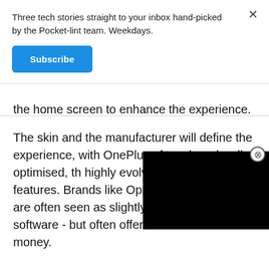Three tech stories straight to your inbox hand-picked by the Pocket-lint team. Weekdays.
Subscribe
the home screen to enhance the experience.
The skin and the manufacturer will define the experience, with OnePlus of touch and well optimised, th highly evolved reworking tha features. Brands like Oppo, formerly Huawei) are often seen as slightly less advanced with software - but often offer better value for money.
[Figure (other): Black rectangle representing a partially obscured video or advertisement overlay in the lower right area of the page]